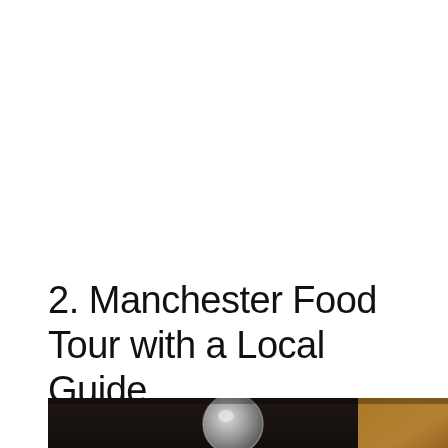2. Manchester Food Tour with a Local Guide
[Figure (photo): Close-up photo of what appears to be food or kitchen-related items. Upper portion shows a dark background with a blurred metallic/chrome circular object (possibly a spice jar lid or kitchen utensil) and a warm brown wooden element to the right. Lower portion shows a light grey/white surface with blurred food items.]